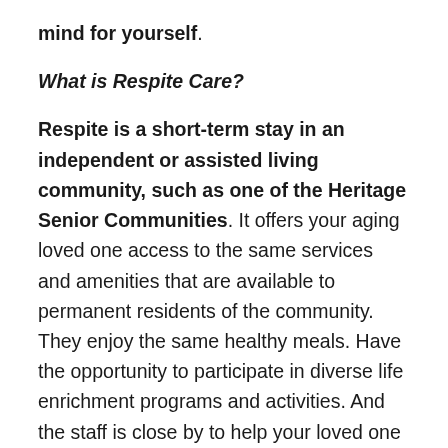mind for yourself.
What is Respite Care?
Respite is a short-term stay in an independent or assisted living community, such as one of the Heritage Senior Communities. It offers your aging loved one access to the same services and amenities that are available to permanent residents of the community. They enjoy the same healthy meals. Have the opportunity to participate in diverse life enrichment programs and activities. And the staff is close by to help your loved one with everything you typically